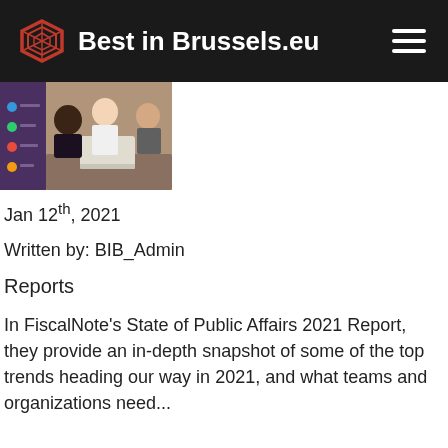Best in Brussels.eu
[Figure (photo): Photo of people in a business meeting around a laptop, with a purple-toned interface visible on a screen in the background]
Jan 12th, 2021
Written by: BIB_Admin
Reports
In FiscalNote's State of Public Affairs 2021 Report, they provide an in-depth snapshot of some of the top trends heading our way in 2021, and what teams and organizations need...